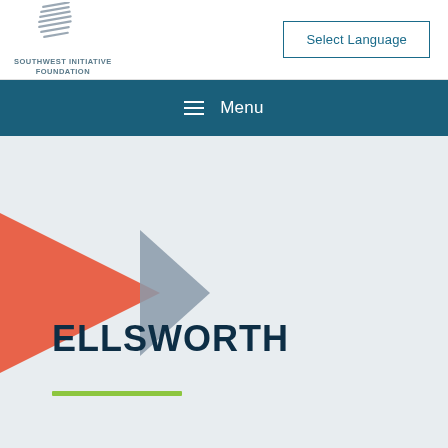[Figure (logo): Southwest Initiative Foundation logo with stacked lines graphic and text]
Select Language
≡  Menu
[Figure (illustration): Red and gray overlapping triangles/arrow shapes on light gray background]
ELLSWORTH